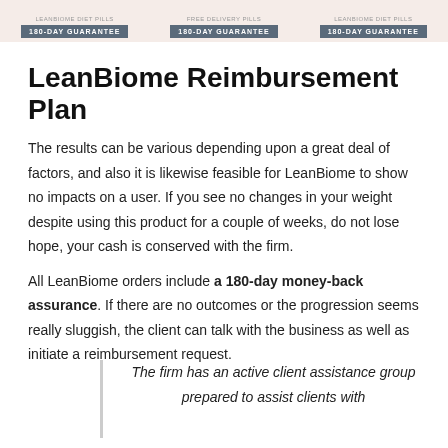[Figure (other): Three product bottles with '180-DAY GUARANTEE' badges shown at top of page]
LeanBiome Reimbursement Plan
The results can be various depending upon a great deal of factors, and also it is likewise feasible for LeanBiome to show no impacts on a user. If you see no changes in your weight despite using this product for a couple of weeks, do not lose hope, your cash is conserved with the firm.
All LeanBiome orders include a 180-day money-back assurance. If there are no outcomes or the progression seems really sluggish, the client can talk with the business as well as initiate a reimbursement request.
The firm has an active client assistance group prepared to assist clients with